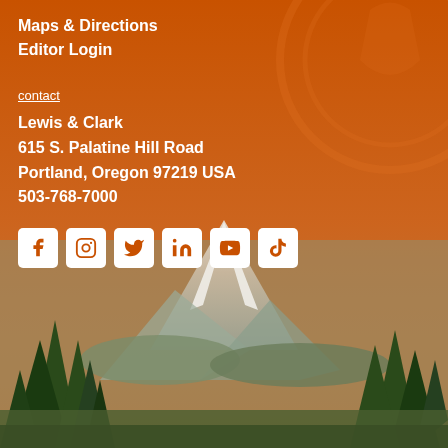[Figure (illustration): Orange background with mountain landscape (Mt. Hood) and trees at bottom, with Lewis & Clark logo watermark circle top-right]
Maps & Directions
Editor Login
contact
Lewis & Clark
615 S. Palatine Hill Road
Portland, Oregon 97219 USA
503-768-7000
[Figure (infographic): Row of 6 social media icon buttons: Facebook, Instagram, Twitter, LinkedIn, YouTube, TikTok — white square boxes with orange icons]